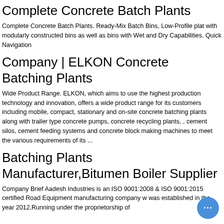Complete Concrete Batch Plants
Complete Concrete Batch Plants. Ready-Mix Batch Bins, Low-Profile plat with modularly constructed bins as well as bins with Wet and Dry Capabilities. Quick Navigation
Company | ELKON Concrete Batching Plants
Wide Product Range. ELKON, which aims to use the highest production technology and innovation, offers a wide product range for its customers including mobile, compact, stationary and on-site concrete batching plants along with trailer type concrete pumps, concrete recycling plants, , cement silos, cement feeding systems and concrete block making machines to meet the various requirements of its ...
Batching Plants Manufacturer,Bitumen Boiler Supplier
Company Brief Aadesh Industries is an ISO 9001:2008 & ISO 9001:2015 certified Road Equipment manufacturing company w was established in the year 2012.Running under the proprietorship of